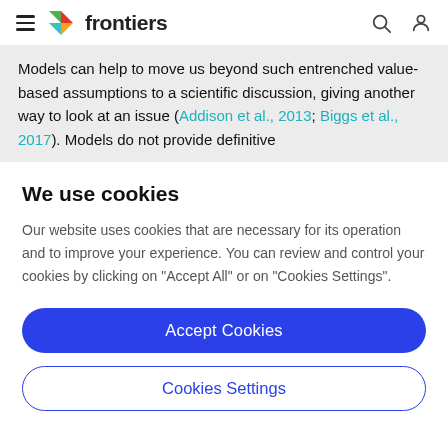frontiers
Models can help to move us beyond such entrenched value-based assumptions to a scientific discussion, giving another way to look at an issue (Addison et al., 2013; Biggs et al., 2017). Models do not provide definitive
We use cookies
Our website uses cookies that are necessary for its operation and to improve your experience. You can review and control your cookies by clicking on "Accept All" or on "Cookies Settings".
Accept Cookies
Cookies Settings